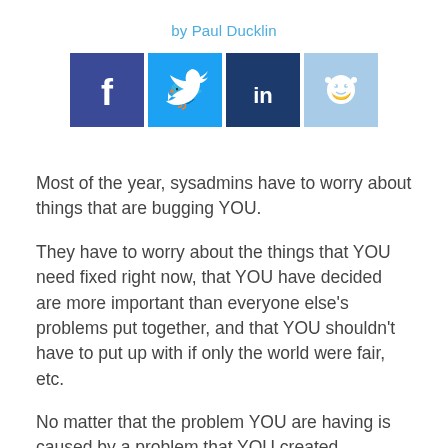by Paul Ducklin
[Figure (infographic): Social media sharing buttons: Facebook (dark blue/purple), Twitter (blue), LinkedIn (dark navy), Reddit (light blue)]
Most of the year, sysadmins have to worry about things that are bugging YOU.
They have to worry about the things that YOU need fixed right now, that YOU have decided are more important than everyone else's problems put together, and that YOU shouldn't have to put up with if only the world were fair, etc.
No matter that the problem YOU are having is caused by a problem that YOU created.